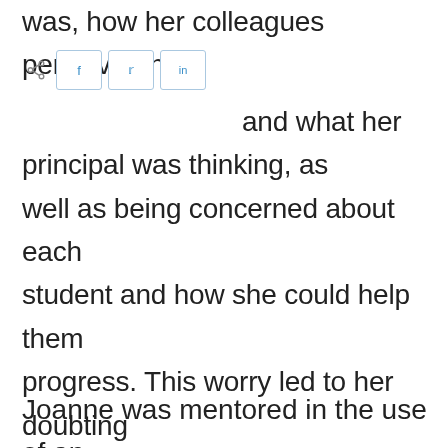was, how her colleagues perceived her, and what her principal was thinking, as well as being concerned about each student and how she could help them progress. This worry led to her doubting herself and working even harder, and over time she became emotionally exhausted. This, in turn, affected her family life and her health. Then a new principal arrived and set social and emotional learning as a central goal of their school.
Joanne was mentored in the use of an